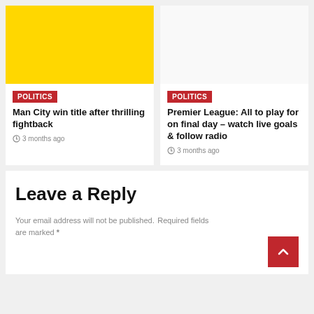[Figure (photo): Yellow solid color image placeholder for article card]
POLITICS
Man City win title after thrilling fightback
3 months ago
[Figure (photo): Empty/white image placeholder for second article card]
POLITICS
Premier League: All to play for on final day – watch live goals & follow radio
3 months ago
Leave a Reply
Your email address will not be published. Required fields are marked *